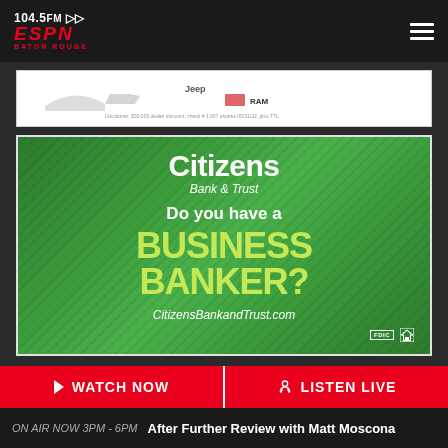104.5 FM ESPN Baton Rouge
[Figure (advertisement): Jeep/RAM vehicle advertisement banner]
[Figure (advertisement): Citizens Bank & Trust advertisement: Do you have a BUSINESS BANKER? CitizensBankandTrust.com]
WATCH NOW
LISTEN LIVE
ON AIR NOW 3PM - 6PM  After Further Review with Matt Moscona